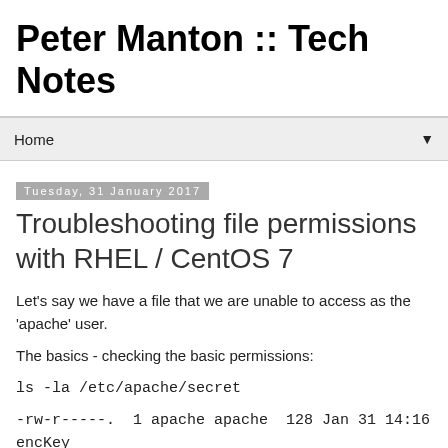Peter Manton :: Tech Notes
Home
Tuesday, 31 January 2017
Troubleshooting file permissions with RHEL / CentOS 7
Let's say we have a file that we are unable to access as the 'apache' user.
The basics - checking the basic permissions:
ls -la /etc/apache/secret
-rw-r-----.  1 apache apache  128 Jan 31 14:16 encKey
Hear we can see that the 'apache' group has read